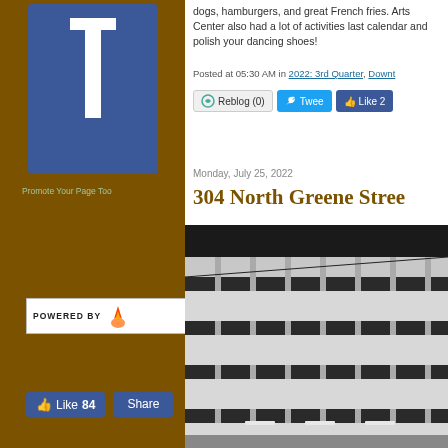[Figure (logo): Blue square logo with white T letter, site branding]
Promote Your Page Too
[Figure (logo): Powered by Typepad badge with flame icon]
[Figure (screenshot): Facebook Like 84 button and Share button]
dogs, hamburgers, and great French fries. Arts Center also had a lot of activities last calendar and polish your dancing shoes!
Posted at 05:30 AM in 2022: 3rd Quarter, Downt
[Figure (screenshot): Social sharing buttons: Reblog (0), Tweet, Like 2]
Monday, July 25, 2022
304 North Greene Stree
[Figure (photo): Black and white photograph of a modernist concrete building exterior with horizontal cantilevered floors and vertical columns]